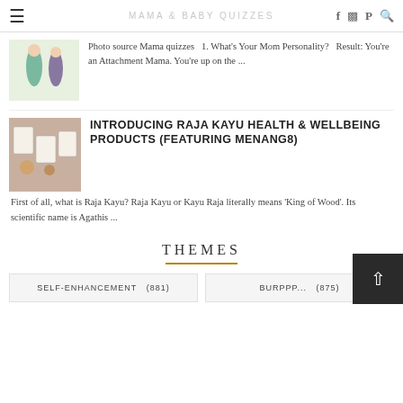MAMA & BABY QUIZZES
Photo source Mama quizzes   1. What's Your Mom Personality?   Result: You're an Attachment Mama. You're up on the ...
INTRODUCING RAJA KAYU HEALTH & WELLBEING PRODUCTS (FEATURING MENANG8)
First of all, what is Raja Kayu? Raja Kayu or Kayu Raja literally means 'King of Wood'. Its scientific name is Agathis ...
THEMES
SELF-ENHANCEMENT (881)
BURPPP... (875)